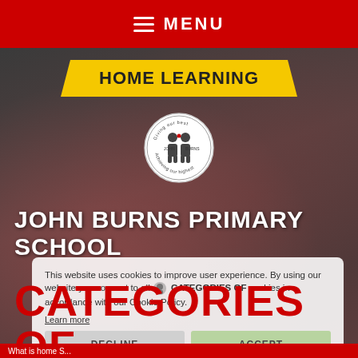≡ MENU
HOME LEARNING
[Figure (logo): John Burns Primary School circular logo with two figures and text 'Giving our best, Achieving our highest']
JOHN BURNS PRIMARY SCHOOL
[Figure (photo): Two primary school children smiling, wearing red school uniforms, with a dark background]
This website uses cookies to improve user experience. By using our website you consent to all cookies in accordance with our Cookie Policy. Learn more
CATEGORIES OF ABUSE